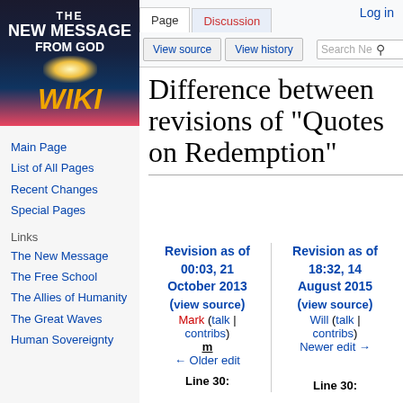[Figure (logo): The New Message From God WIKI logo — dark background with gold WIKI text and glowing light]
Main Page
List of All Pages
Recent Changes
Special Pages
Links
The New Message
The Free School
The Allies of Humanity
The Great Waves
Human Sovereignty
Log in
Difference between revisions of "Quotes on Redemption"
| Revision as of 00:03, 21 October 2013 (view source) | Revision as of 18:32, 14 August 2015 (view source) |
| --- | --- |
| Mark (talk | contribs) | Will (talk | contribs) |
| m | Newer edit → |
| ← Older edit |  |
| Line 30: | Line 30: |